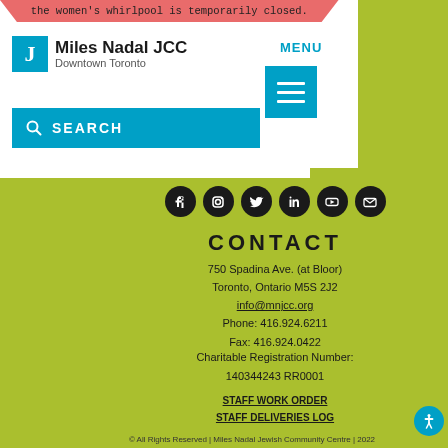the women's whirlpool is temporarily closed.
[Figure (logo): Miles Nadal JCC Downtown Toronto logo with blue J icon]
MENU
[Figure (infographic): Hamburger menu button (three horizontal lines on teal background)]
[Figure (infographic): Search bar with magnifying glass icon and SEARCH text on teal background]
[Figure (infographic): Social media icons row: Facebook, Instagram, Twitter, LinkedIn, YouTube, Email]
CONTACT
750 Spadina Ave. (at Bloor)
Toronto, Ontario M5S 2J2
info@mnjcc.org
Phone: 416.924.6211
Fax: 416.924.0422
Charitable Registration Number:
140344243 RR0001
STAFF WORK ORDER
STAFF DELIVERIES LOG
© All Rights Reserved | Miles Nadal Jewish Community Centre | 2022